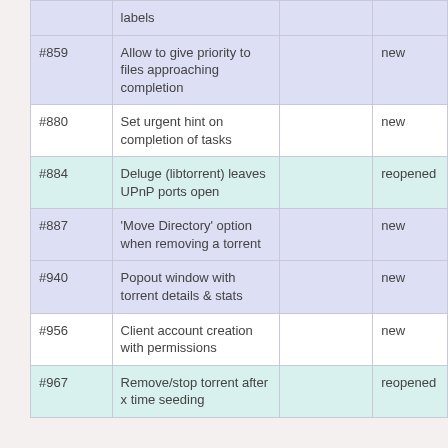|  | labels |  |  |  |
| --- | --- | --- | --- | --- |
| #859 | Allow to give priority to files approaching completion |  | new | andar |
| #880 | Set urgent hint on completion of tasks |  | new | andar |
| #884 | Deluge (libtorrent) leaves UPnP ports open |  | reopened | andar |
| #887 | 'Move Directory' option when removing a torrent |  | new | andar |
| #940 | Popout window with torrent details & stats |  | new | andar |
| #956 | Client account creation with permissions |  | new | andar |
| #967 | Remove/stop torrent after x time seeding |  | reopened | andar |